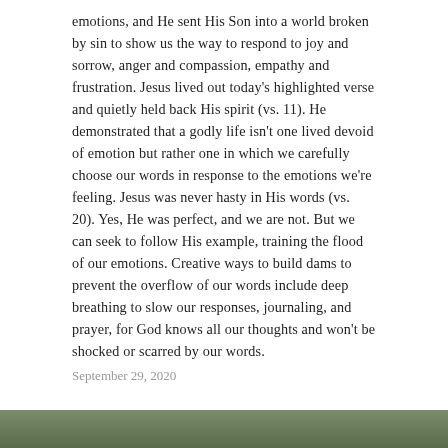emotions, and He sent His Son into a world broken by sin to show us the way to respond to joy and sorrow, anger and compassion, empathy and frustration. Jesus lived out today's highlighted verse and quietly held back His spirit (vs. 11). He demonstrated that a godly life isn't one lived devoid of emotion but rather one in which we carefully choose our words in response to the emotions we're feeling. Jesus was never hasty in His words (vs. 20). Yes, He was perfect, and we are not. But we can seek to follow His example, training the flood of our emotions. Creative ways to build dams to prevent the overflow of our words include deep breathing to slow our responses, journaling, and prayer, for God knows all our thoughts and won't be shocked or scarred by our words.
September 29, 2020
[Figure (photo): Partial image strip at the bottom of the page showing a natural/outdoor scene in muted green tones]